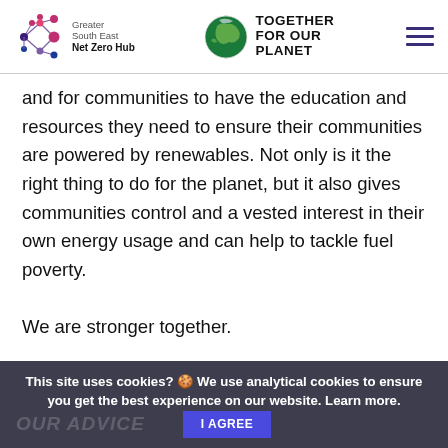Greater South East Net Zero Hub | Together For Our Planet
and for communities to have the education and resources they need to ensure their communities are powered by renewables. Not only is it the right thing to do for the planet, but it also gives communities control and a vested interest in their own energy usage and can help to tackle fuel poverty.
We are stronger together.
This site uses cookies? 🍪 We use analytical cookies to ensure you get the best experience on our website. Learn more.